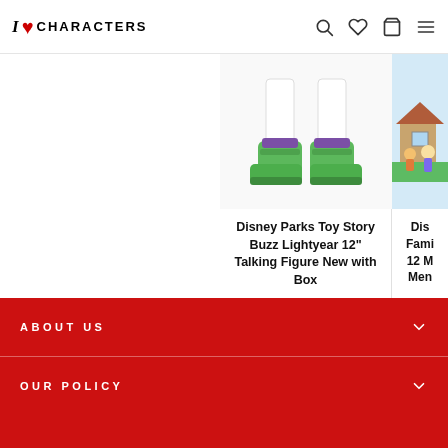I ❤ Characters — navigation header with search, wishlist, cart, and menu icons
[Figure (photo): Partial view of Buzz Lightyear figure showing green boots/feet on white background]
Disney Parks Toy Story Buzz Lightyear 12" Talking Figure New with Box
DISNEY
$49.99 USD
[Figure (photo): Partial view of second Disney product showing colorful family/characters scene]
Dis... Fami... 12 M... Men...
ABOUT US
OUR POLICY